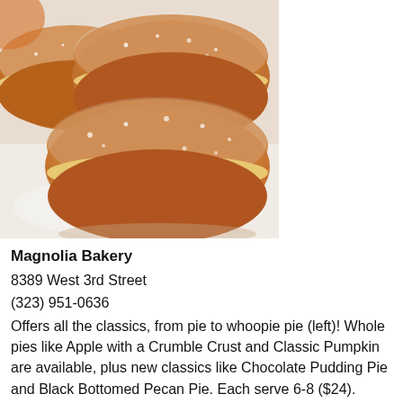[Figure (photo): Photograph of pumpkin whoopie pies stacked on a white doily plate, dusted with powdered sugar, with cream filling visible between the cookie layers.]
Magnolia Bakery
8389 West 3rd Street
(323) 951-0636
Offers all the classics, from pie to whoopie pie (left)! Whole pies like Apple with a Crumble Crust and Classic Pumpkin are available, plus new classics like Chocolate Pudding Pie and Black Bottomed Pecan Pie. Each serve 6-8 ($24). Pumpkin Whoopie Pies, Pumpkin Cupcakes with Maple Frosting, Pumpkin-